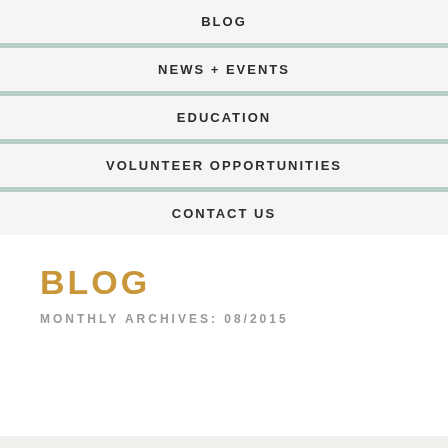BLOG
NEWS + EVENTS
EDUCATION
VOLUNTEER OPPORTUNITIES
CONTACT US
BLOG
MONTHLY ARCHIVES: 08/2015